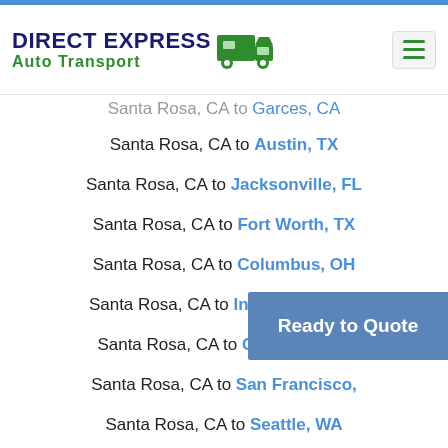DIRECT EXPRESS Auto Transport
Santa Rosa, CA to Austin, TX
Santa Rosa, CA to Jacksonville, FL
Santa Rosa, CA to Fort Worth, TX
Santa Rosa, CA to Columbus, OH
Santa Rosa, CA to Indianapolis, IN
Santa Rosa, CA to Charlotte, NC
Santa Rosa, CA to San Francisco, CA
Santa Rosa, CA to Seattle, WA
Santa Rosa, CA to Denver, CO